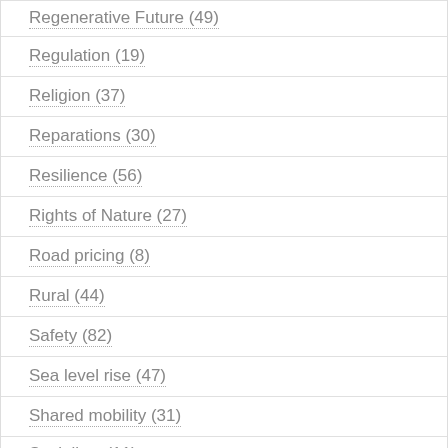Regenerative Future (49)
Regulation (19)
Religion (37)
Reparations (30)
Resilience (56)
Rights of Nature (27)
Road pricing (8)
Rural (44)
Safety (82)
Sea level rise (47)
Shared mobility (31)
Socialism (11)